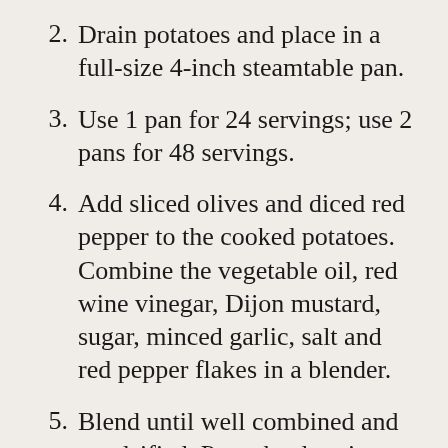2. Drain potatoes and place in a full-size 4-inch steamtable pan.
3. Use 1 pan for 24 servings; use 2 pans for 48 servings.
4. Add sliced olives and diced red pepper to the cooked potatoes. Combine the vegetable oil, red wine vinegar, Dijon mustard, sugar, minced garlic, salt and red pepper flakes in a blender.
5. Blend until well combined and emulsified. Pour the dressing over the warm potatoes and